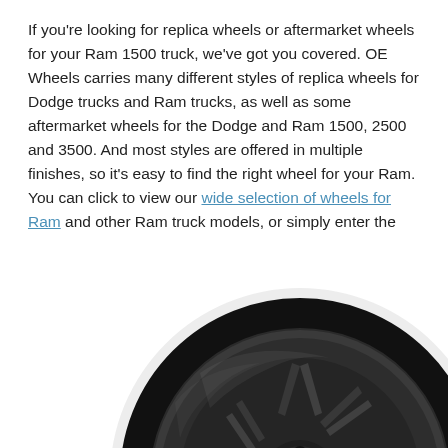If you're looking for replica wheels or aftermarket wheels for your Ram 1500 truck, we've got you covered. OE Wheels carries many different styles of replica wheels for Dodge trucks and Ram trucks, as well as some aftermarket wheels for the Dodge and Ram 1500, 2500 and 3500. And most styles are offered in multiple finishes, so it's easy to find the right wheel for your Ram. You can click to view our wide selection of wheels for Ram and other Ram truck models, or simply enter the year-make-model of your truck at the top of any page on our website.
[Figure (photo): A dark gray/gunmetal aftermarket alloy wheel for Ram 1500 truck, showing 5-spoke design with a matte/satin black finish, photographed at an angle against a white background.]